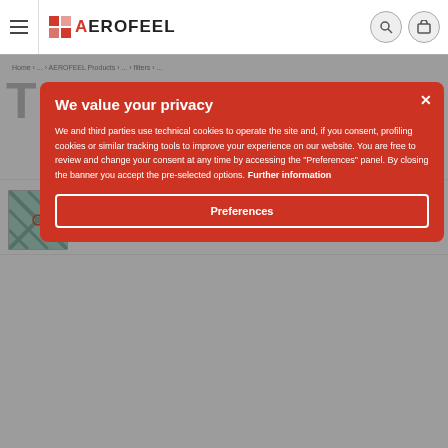AEROFEEL
Home > ...
T...
[Figure (screenshot): Product thumbnail - Cardboard Framed Panel Filter with Fiberglass Paint-stop media, green diamond pattern]
Cardboard Framed Panel Filter with Fiberglass Paint-stop media
€ 5,50 — € 7,50 VAT excluded
We value your privacy
We and third parties use technical cookies to operate the site and, if you consent, profiling cookies or similar tracking tools to improve your experience on our website. You are free to review and change your consent at any time by accessing the "Preferences" panel. By closing the banner you accept the pre-selected options. Further information
Preferences